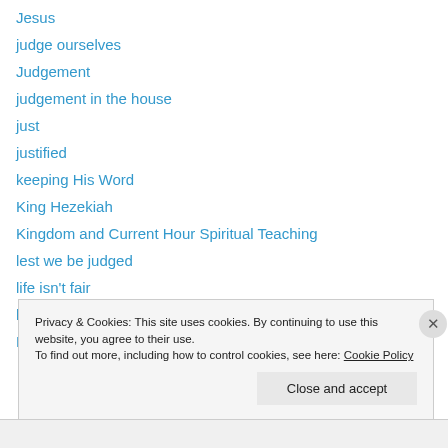Jesus
judge ourselves
Judgement
judgement in the house
just
justified
keeping His Word
King Hezekiah
Kingdom and Current Hour Spiritual Teaching
lest we be judged
life isn't fair
likeness
Lord
Privacy & Cookies: This site uses cookies. By continuing to use this website, you agree to their use. To find out more, including how to control cookies, see here: Cookie Policy
Close and accept